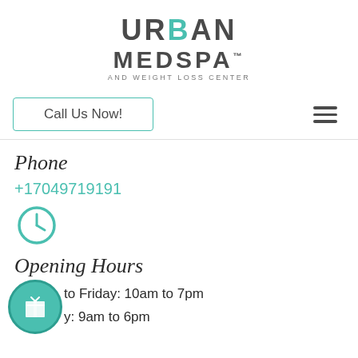[Figure (logo): Urban MedSpa and Weight Loss Center logo with teal accent on letter R]
Call Us Now!
Phone
+17049719191
[Figure (illustration): Teal clock icon circle]
Opening Hours
Monday to Friday: 10am to 7pm
Saturday: 9am to 6pm
[Figure (illustration): Teal gift box icon in a circle with border]